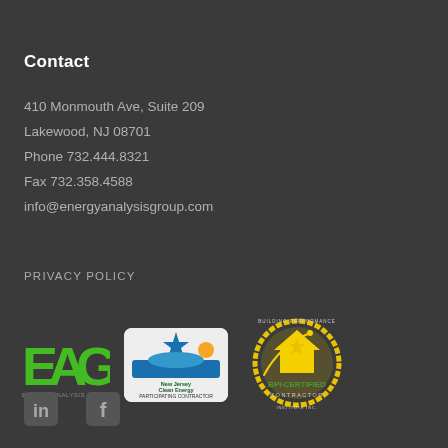Contact
410 Monmouth Ave, Suite 209
Lakewood, NJ 08701
Phone 732.444.8321
Fax 732.358.4588
info@energyanalysisgroup.com
PRIVACY POLICY
[Figure (logo): EAG Energy Analysis Group green logo]
[Figure (logo): NJ Clean Energy Participating Contractor badge with Energy Star logo]
[Figure (logo): BPI Building Performance Institute Certified Contractor badge]
[Figure (logo): LinkedIn social media icon]
[Figure (logo): Facebook social media icon]